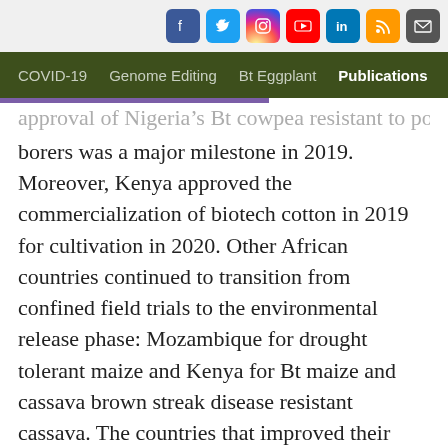COVID-19  Genome Editing  Bt Eggplant  Publications  Vi
approval of Nigeria's Bt cowpea resistant to pod borers was a major milestone in 2019. Moreover, Kenya approved the commercialization of biotech cotton in 2019 for cultivation in 2020. Other African countries continued to transition from confined field trials to the environmental release phase: Mozambique for drought tolerant maize and Kenya for Bt maize and cassava brown streak disease resistant cassava. The countries that improved their biosafety regulation to facilitate biotech crop development and adoption are Ghana and Niger. A number of countries also endorsed the trade of biotech crops and vouched for their food safety including Zambia.